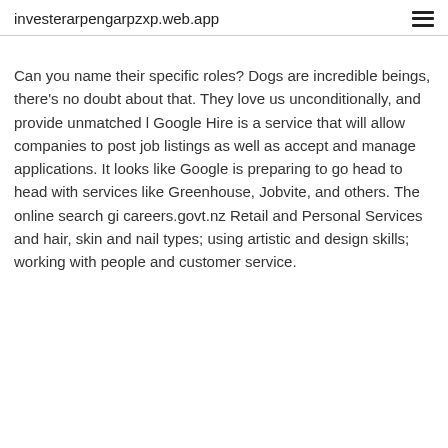investerarpengarpzxp.web.app
Can you name their specific roles? Dogs are incredible beings, there’s no doubt about that. They love us unconditionally, and provide unmatched l Google Hire is a service that will allow companies to post job listings as well as accept and manage applications. It looks like Google is preparing to go head to head with services like Greenhouse, Jobvite, and others. The online search gi careers.govt.nz Retail and Personal Services and hair, skin and nail types; using artistic and design skills; working with people and customer service.